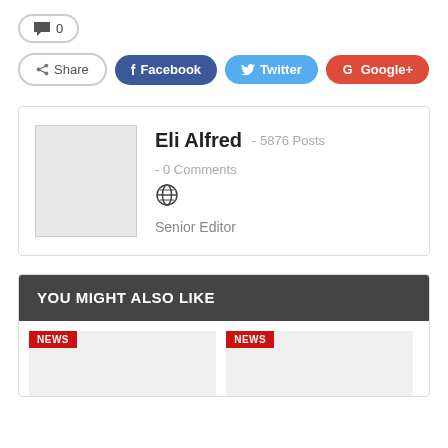💬 0
Share | Facebook | Twitter | Google+
Eli Alfred - 5876 Posts - 0 Comments
Senior Editor
YOU MIGHT ALSO LIKE
[Figure (other): Two NEWS labeled image cards side by side]
NEWS
NEWS